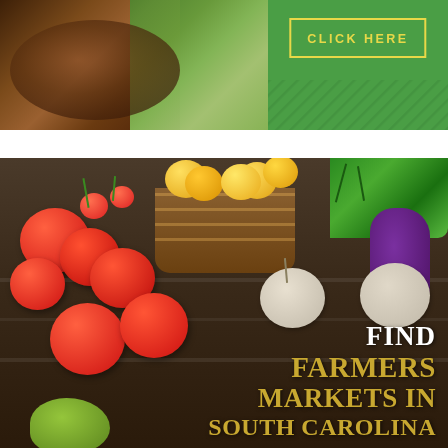[Figure (photo): Top banner with two sections: left side shows a brown animal (dog/bear) photo, right side is a green background with yellow-bordered box containing 'CLICK HERE' text in yellow letters, with diagonal stripe pattern at bottom]
[Figure (photo): Farmers market promotional image showing colorful fresh vegetables on a wooden table: red tomatoes, yellow tomatoes in a wicker basket, green bell pepper, garlic bulbs, eggplant, and green herbs. Overlaid text reads 'FIND FARMERS MARKETS IN SOUTH CAROLINA' in white and gold lettering.]